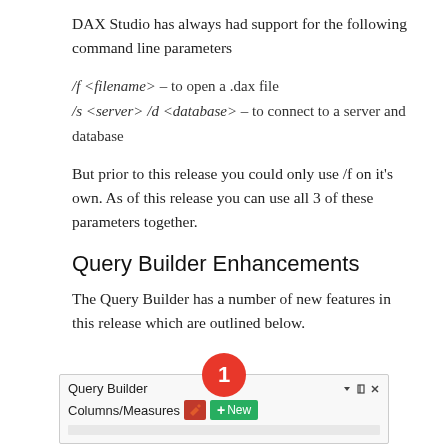DAX Studio has always had support for the following command line parameters
/f <filename> – to open a .dax file
/s <server> /d <database> – to connect to a server and database
But prior to this release you could only use /f on it's own. As of this release you can use all 3 of these parameters together.
Query Builder Enhancements
The Query Builder has a number of new features in this release which are outlined below.
[Figure (screenshot): Screenshot of the Query Builder panel showing a title bar with 'Query Builder', dropdown arrow, pin and close icons, and a toolbar with 'Columns/Measures', an edit button, and a green 'New' button. A red circle with the number '1' is overlaid at the top center.]